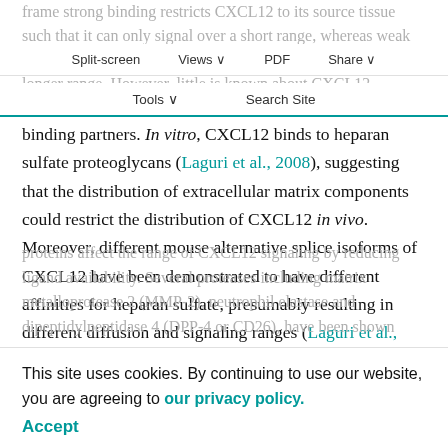frame strong binding restricts CXCL12 to its source tissue such that it can only signal over a short range, whereas weak or no binding allows CXCL12 to diffuse and signal over a longer range. However, little is known about CXCL12 binding partners.
Split-screen  Views  PDF  Share
Tools  Search Site
In vitro, CXCL12 binds to heparan sulfate proteoglycans (Laguri et al., 2008), suggesting that the distribution of extracellular matrix components could restrict the distribution of CXCL12 in vivo. Moreover, different mouse alternative splice isoforms of CXCL12 have been demonstrated to have different affinities for heparan sulfate, presumably resulting in different diffusion and signaling ranges (Laguri et al., 2007). Inactivating proteins affect the range of CXCL12 signaling by reducing ligand availability. Several proteases including matrix metalloprotease 2 (MMP-2), neutrophil elastase and dipeptidylpeptidase 4 (DPP-4 or CD26), have been shown
This site uses cookies. By continuing to use our website, you are agreeing to our privacy policy.
Accept